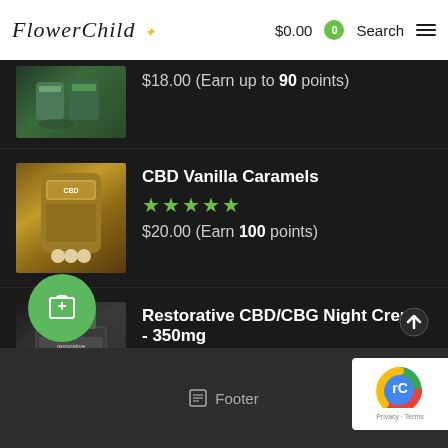Flower Child — $0.00  0  Search
[Figure (photo): Partial product image at top (jars/seeds), partially cropped]
$18.00 (Earn up to 90 points)
[Figure (photo): CBD Vanilla Caramels product — kraft bag with CBD caramels]
CBD Vanilla Caramels
★★★★★
$20.00 (Earn 100 points)
[Figure (photo): Restorative CBD/CBG Night Creme 350mg product box]
Restorative CBD/CBG Night Creme - 350mg
★★★★★
$45.00 (Earn 225 points)
Footer
[Figure (other): reCAPTCHA badge — Privacy · Terms]